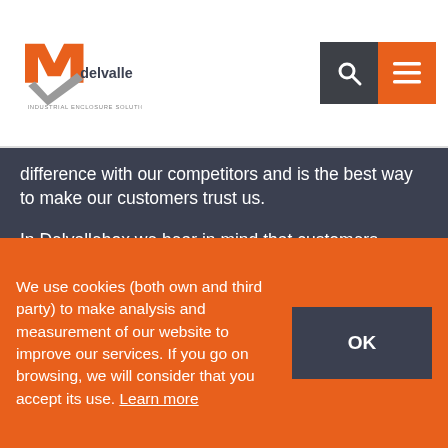delvalle INDUSTRIAL ENCLOSURE SOLUTIONS
difference with our competitors and is the best way to make our customers trust us.
In Delvallebox we bear in mind that customers perceive the quality very clearly. In every product (for instance, in the cabinets here presented) it is safety and useful solutions what customers value most.
Therefore, it is not an accident that our company has been present in the market for more than 50 years: it is the result of hard work and efforts by many people.
We use cookies (both own and third party) to make analysis and measurement of our website to improve our services. If you go on browsing, we will consider that you accept its use. Learn more